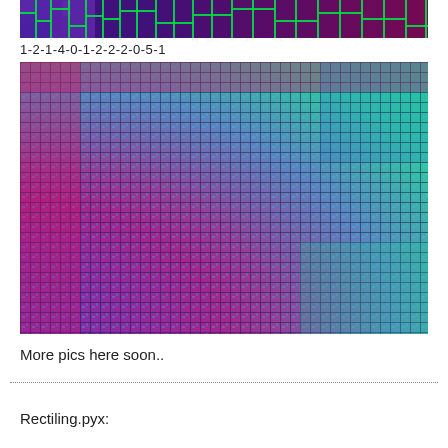[Figure (illustration): Top strip of a colorful tiled/mosaic image showing rectangular tiles in purple, green, magenta, and red gradient colors arranged in a grid pattern with visible borders.]
1-2-1-4-0-1-2-2-2-0-5-1
[Figure (illustration): Large image showing a woven or tiled pattern of rectangles in a gradient from magenta/red in the top-left to teal/green at the bottom-right, with cyan/dark borders creating a basket-weave visual effect.]
More pics here soon..
Rectiling.pyx: